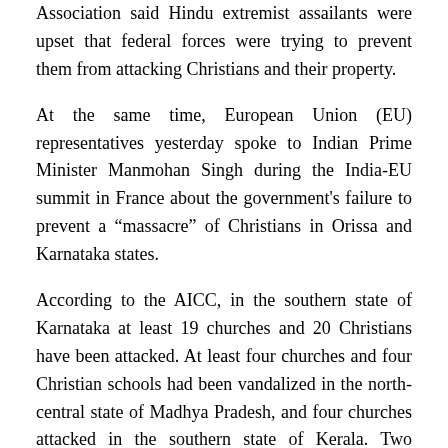Association said Hindu extremist assailants were upset that federal forces were trying to prevent them from attacking Christians and their property.
At the same time, European Union (EU) representatives yesterday spoke to Indian Prime Minister Manmohan Singh during the India-EU summit in France about the government’s failure to prevent a “massacre” of Christians in Orissa and Karnataka states.
According to the AICC, in the southern state of Karnataka at least 19 churches and 20 Christians have been attacked. At least four churches and four Christian schools had been vandalized in the north-central state of Madhya Pradesh, and four churches attacked in the southern state of Kerala. Two churches had also been damaged in the national capital, Delhi.